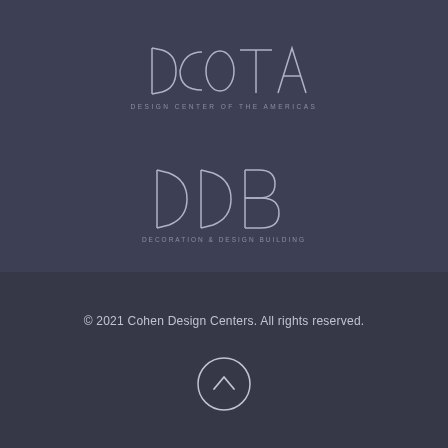[Figure (logo): DCOTA - Design Center of the Americas logo in light grey thin geometric letters on dark blue-grey background]
[Figure (logo): DDB - Decoration & Design Building logo in light grey thin geometric letters on dark blue-grey background]
© 2021 Cohen Design Centers. All rights reserved.
[Figure (other): Circle with upward chevron arrow icon]